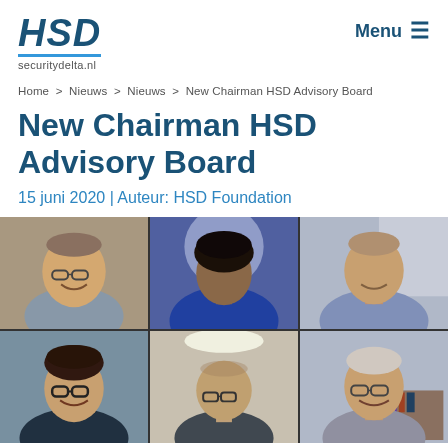HSD securitydelta.nl | Menu
Home > Nieuws > Nieuws > New Chairman HSD Advisory Board
New Chairman HSD Advisory Board
15 juni 2020 | Auteur: HSD Foundation
[Figure (photo): A video call grid showing six participants in an online meeting, arranged in 2 rows of 3. Top row: elderly man with glasses smiling, woman in blue patterned top, man in light blue shirt smiling. Bottom row: young man with glasses smiling, bald man with glasses looking down, older man with glasses smiling.]